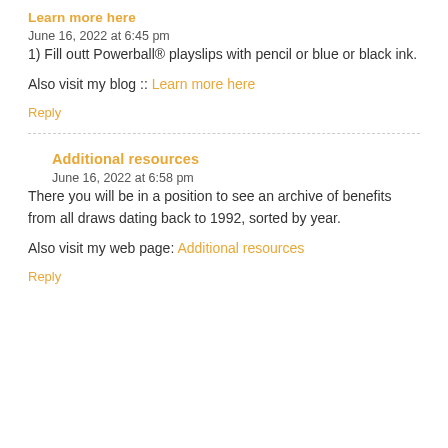Learn more here
June 16, 2022 at 6:45 pm
1) Fill outt Powerball® playslips with pencil or blue or black ink.
Also visit my blog :: Learn more here
Reply
Additional resources
June 16, 2022 at 6:58 pm
There you will be in a position to see an archive of benefits from all draws dating back to 1992, sorted by year.
Also visit my web page: Additional resources
Reply